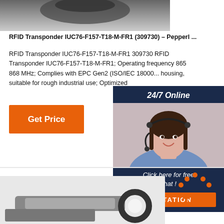[Figure (photo): Partial product image of RFID transponder device, top portion visible, dark/grey tones]
RFID Transponder IUC76-F157-T18-M-FR1 (309730) – Pepperl ...
RFID Transponder IUC76-F157-T18-M-FR1 309730 RFID Transponder IUC76-F157-T18-M-FR1; Operating frequency 865 868 MHz; Complies with EPC Gen2 (ISO/IEC 18000... housing, suitable for rough industrial use; Optimized...
[Figure (other): Orange 'Get Price' button]
[Figure (photo): 24/7 Online chat widget with customer service agent photo, 'Click here for free chat!' text, and QUOTATION orange button]
[Figure (logo): Orange 'TOP' logo with dots arranged in triangle/arc above the word TOP]
[Figure (photo): Bottom partial product image showing RFID transponder device]